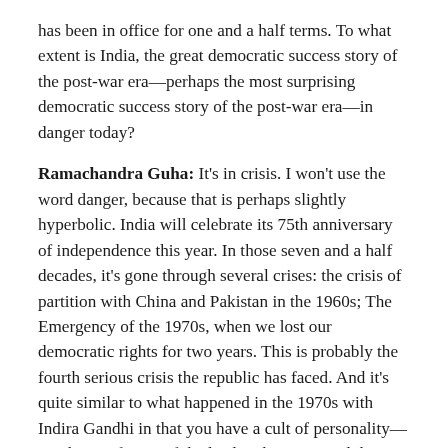has been in office for one and a half terms. To what extent is India, the great democratic success story of the post-war era—perhaps the most surprising democratic success story of the post-war era—in danger today?
Ramachandra Guha: It's in crisis. I won't use the word danger, because that is perhaps slightly hyperbolic. India will celebrate its 75th anniversary of independence this year. In those seven and a half decades, it's gone through several crises: the crisis of partition with China and Pakistan in the 1960s; The Emergency of the 1970s, when we lost our democratic rights for two years. This is probably the fourth serious crisis the republic has faced. And it's quite similar to what happened in the 1970s with Indira Gandhi in that you have a cult of personality—you have a fusion of the leader, the party, and the government. In this case there